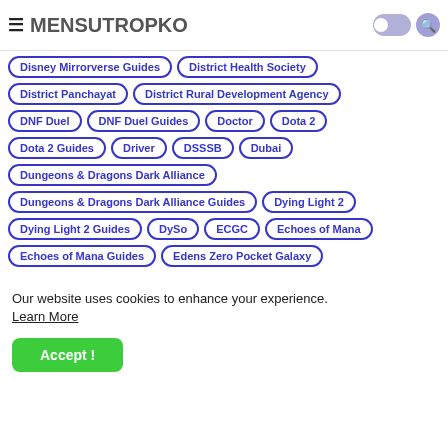MENSUTROPKO
Disney Mirrorverse Guides
District Health Society
District Panchayat
District Rural Development Agency
DNF Duel
DNF Duel Guides
Doctor
Dota 2
Dota 2 Guides
Driver
DSSSB
Dubai
Dungeons & Dragons Dark Alliance
Dungeons & Dragons Dark Alliance Guides
Dying Light 2
Dying Light 2 Guides
DySo
ECGC
Echoes of Mana
Echoes of Mana Guides
Edens Zero Pocket Galaxy
Our website uses cookies to enhance your experience. Learn More
Accept !